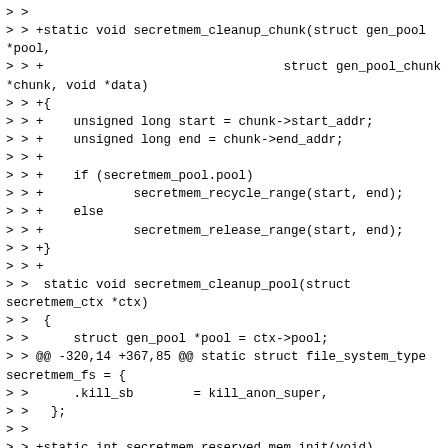> >
> > +static void secretmem_cleanup_chunk(struct gen_pool *pool,
> > +                                struct gen_pool_chunk *chunk, void *data)
> > +{
> > +    unsigned long start = chunk->start_addr;
> > +    unsigned long end = chunk->end_addr;
> > +
> > +    if (secretmem_pool.pool)
> > +            secretmem_recycle_range(start, end);
> > +    else
> > +            secretmem_release_range(start, end);
> > +}
> > +
> >  static void secretmem_cleanup_pool(struct secretmem_ctx *ctx)
> >  {
> >      struct gen_pool *pool = ctx->pool;
> > @@ -320,14 +367,85 @@ static struct file_system_type secretmem_fs = {
> >      .kill_sb        = kill_anon_super,
> >   };
> >
> > +static int secretmem_reserved_mem_init(void)
> > +{
> > +    struct gen_pool *pool;
> > +    struct page *page;
> > +    void *addr;
> > +    int err;